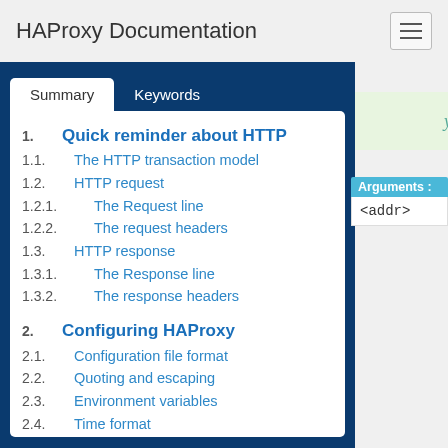HAProxy Documentation
1. Quick reminder about HTTP
1.1. The HTTP transaction model
1.2. HTTP request
1.2.1. The Request line
1.2.2. The request headers
1.3. HTTP response
1.3.1. The Response line
1.3.2. The response headers
2. Configuring HAProxy
2.1. Configuration file format
2.2. Quoting and escaping
2.3. Environment variables
2.4. Time format
2.5. Examples
3. Global parameters
Arguments :
<addr>